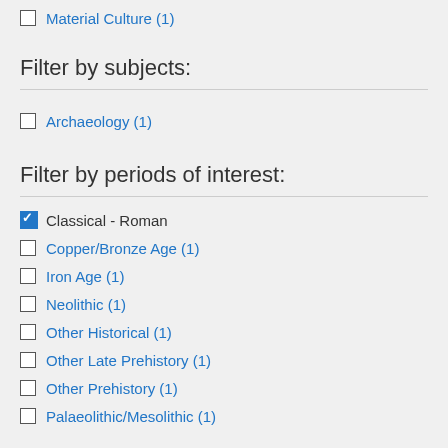Material Culture (1)
Filter by subjects:
Archaeology (1)
Filter by periods of interest:
Classical - Roman (checked)
Copper/Bronze Age (1)
Iron Age (1)
Neolithic (1)
Other Historical (1)
Other Late Prehistory (1)
Other Prehistory (1)
Palaeolithic/Mesolithic (1)